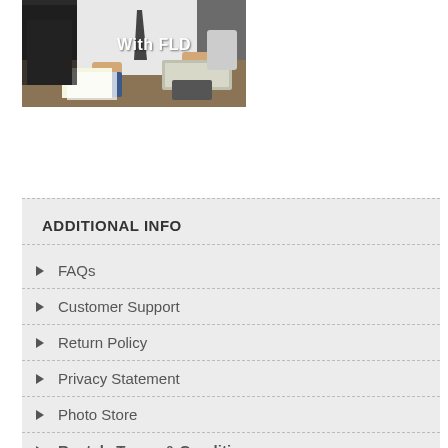[Figure (photo): Photo of a businessman in white shirt and tie working at a desk with a computer keyboard, phone, and papers. Text overlay reads 'With FLD'.]
ADDITIONAL INFO
FAQs
Customer Support
Return Policy
Privacy Statement
Photo Store
Rentals Terms & Conditions